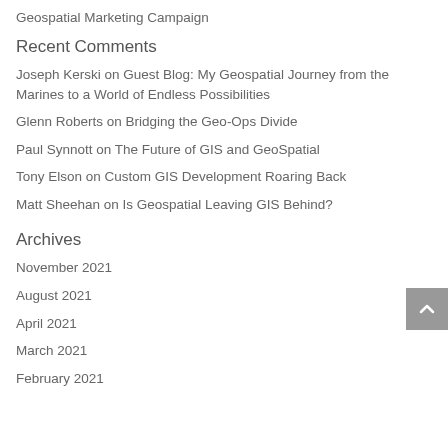Geospatial Marketing Campaign
Recent Comments
Joseph Kerski on Guest Blog: My Geospatial Journey from the Marines to a World of Endless Possibilities
Glenn Roberts on Bridging the Geo-Ops Divide
Paul Synnott on The Future of GIS and GeoSpatial
Tony Elson on Custom GIS Development Roaring Back
Matt Sheehan on Is Geospatial Leaving GIS Behind?
Archives
November 2021
August 2021
April 2021
March 2021
February 2021